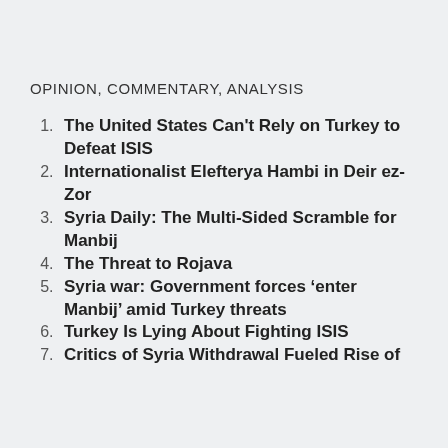OPINION, COMMENTARY, ANALYSIS
The United States Can't Rely on Turkey to Defeat ISIS
Internationalist Elefterya Hambi in Deir ez-Zor
Syria Daily: The Multi-Sided Scramble for Manbij
The Threat to Rojava
Syria war: Government forces ‘enter Manbij’ amid Turkey threats
Turkey Is Lying About Fighting ISIS
Critics of Syria Withdrawal Fueled Rise of...